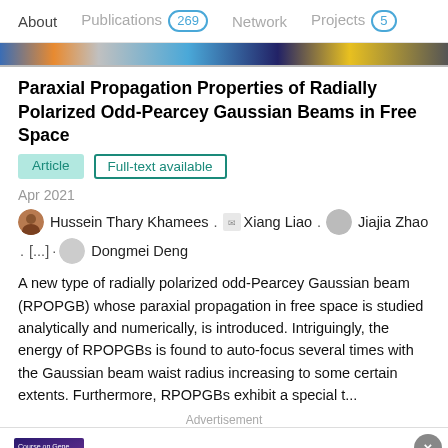About  Publications 269  Network  Projects 5
Paraxial Propagation Properties of Radially Polarized Odd-Pearcey Gaussian Beams in Free Space
Article  Full-text available
Apr 2021
Hussein Thary Khamees . Xiang Liao . Jiajia Zhao . [...] · Dongmei Deng
A new type of radially polarized odd-Pearcey Gaussian beam (RPOPGB) whose paraxial propagation in free space is studied analytically and numerically, is introduced. Intriguingly, the energy of RPOPGBs is found to auto-focus several times with the Gaussian beam waist radius increasing to some certain extents. Furthermore, RPOPGBs exhibit a special t...
Advertisement
[Figure (other): ThermoFisher Scientific advertisement with Gene Synthesis Handbook and a person in a lab coat with purple/orange gradient background]
Gene Synthesis Handbook